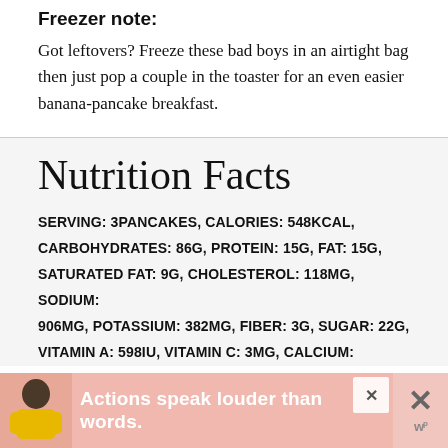Freezer note:
Got leftovers? Freeze these bad boys in an airtight bag then just pop a couple in the toaster for an even easier banana-pancake breakfast.
Nutrition Facts
SERVING: 3pancakes, CALORIES: 548kcal, CARBOHYDRATES: 86g, PROTEIN: 15g, FAT: 15g, SATURATED FAT: 9g, CHOLESTEROL: 118mg, SODIUM: 906mg, POTASSIUM: 382mg, FIBER: 3g, SUGAR: 22g, VITAMIN A: 598IU, VITAMIN C: 3mg, CALCIUM:
[Figure (other): Advertisement banner: 'Actions speak louder than words.' with a person in a yellow top, close buttons, and a 'w' logo.]